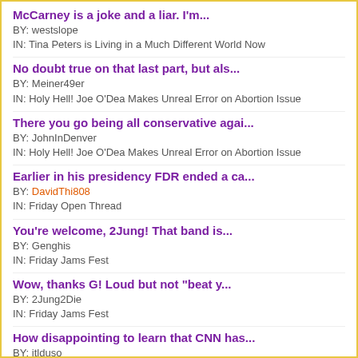McCarney is a joke and a liar. I'm...
BY: westslope
IN: Tina Peters is Living in a Much Different World Now
No doubt true on that last part, but als...
BY: Meiner49er
IN: Holy Hell! Joe O'Dea Makes Unreal Error on Abortion Issue
There you go being all conservative agai...
BY: JohnInDenver
IN: Holy Hell! Joe O'Dea Makes Unreal Error on Abortion Issue
Earlier in his presidency FDR ended a ca...
BY: DavidThi808
IN: Friday Open Thread
You're welcome, 2Jung! That band is...
BY: Genghis
IN: Friday Jams Fest
Wow, thanks G! Loud but not "beat y...
BY: 2Jung2Die
IN: Friday Jams Fest
How disappointing to learn that CNN has...
BY: itlduso